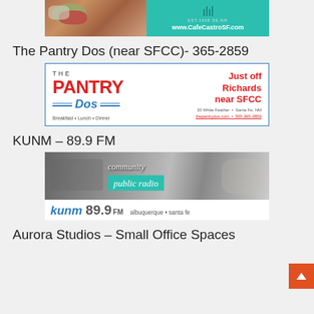[Figure (photo): Top banner ad for CafeCastroSF.com with food photo on left and teal background with website URL on right]
The Pantry Dos (near SFCC)- 365-2859
[Figure (photo): The Pantry Dos advertisement with logo, 'Just off Richards near SFCC', address 20 White Feather, Santa Fe NM, thepantrydos.com, 505-365-2859, Breakfast Lunch Dinner]
KUNM – 89.9 FM
[Figure (photo): KUNM 89.9 FM community public radio ad with black and white photo background, teal accent, kunm 89.9 FM albuquerque santa fe]
Aurora Studios – Small Office Spaces